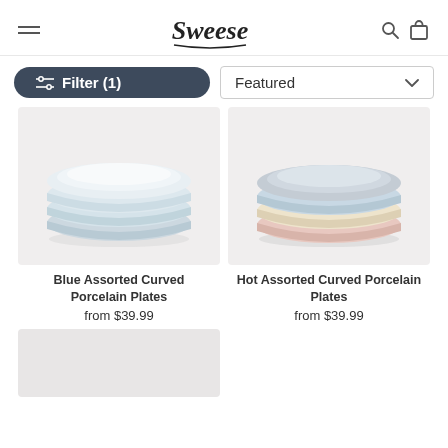Sweese — navigation header with hamburger menu, logo, search and cart icons
Filter (1)
Featured
[Figure (photo): Blue Assorted Curved Porcelain Plates stacked, light blue tones on grey background]
Blue Assorted Curved Porcelain Plates
from $39.99
[Figure (photo): Hot Assorted Curved Porcelain Plates stacked with blue, yellow, pink colors on grey background]
Hot Assorted Curved Porcelain Plates
from $39.99
[Figure (photo): Third product plate partially visible, light grey background]